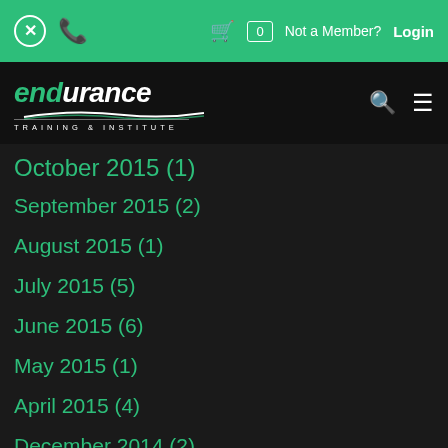Endurance Films – navigation bar with cart (0), Not a Member?, Login
October 2015 (1)
September 2015 (2)
August 2015 (1)
July 2015 (5)
June 2015 (6)
May 2015 (1)
April 2015 (4)
December 2014 (2)
October 2014 (1)
September 2014 (3)
July 2014 (3)
March 2014 (15)